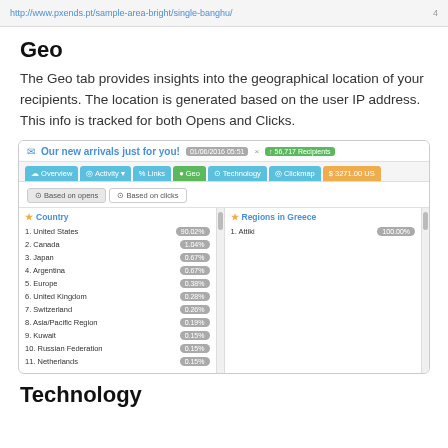http://www.pxends.pt/sample-area-bright/single-banghu/
Geo
The Geo tab provides insights into the geographical location of your recipients. The location is generated based on the user IP address. This info is tracked for both Opens and Clicks.
[Figure (screenshot): Screenshot of a campaign analytics dashboard showing the Geo tab with a Country list (United States 90.02%, Canada 1.04%, Japan 0.67%, Argentina 0.67%, Europe 0.38%, United Kingdom 0.28%, Switzerland 0.26%, Asia/Pacific Region 0.19%, Kuwait 0.15%, Russian Federation 0.15%, Netherlands 0.15%) and Regions in Greece (Attiki 100.00%).]
Technology